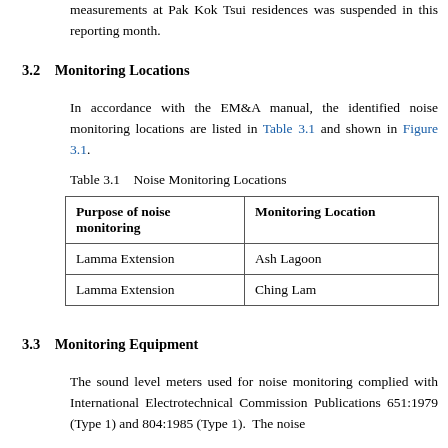measurements at Pak Kok Tsui residences was suspended in this reporting month.
3.2    Monitoring Locations
In accordance with the EM&A manual, the identified noise monitoring locations are listed in Table 3.1 and shown in Figure 3.1.
Table 3.1    Noise Monitoring Locations
| Purpose of noise monitoring | Monitoring Location |
| --- | --- |
| Lamma Extension | Ash Lagoon |
| Lamma Extension | Ching Lam |
3.3    Monitoring Equipment
The sound level meters used for noise monitoring complied with International Electrotechnical Commission Publications 651:1979 (Type 1) and 804:1985 (Type 1).  The noise